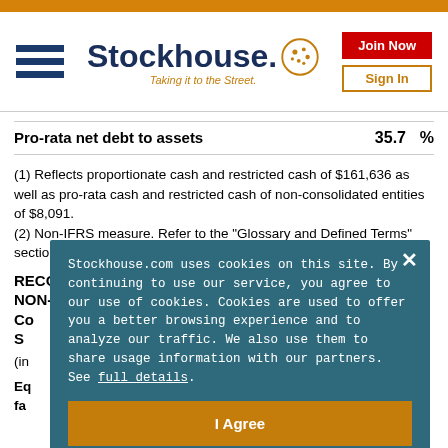Stockhouse. Taking it to the Street.
|  |  |  |
| --- | --- | --- |
| Pro-rata net debt to assets | 35.7 | % |
(1) Reflects proportionate cash and restricted cash of $161,636 as well as pro-rata cash and restricted cash of non-consolidated entities of $8,091.
(2) Non-IFRS measure. Refer to the "Glossary and Defined Terms" section for definition.
RECONCILIATION OF PRO-RATA DEBT AND ASSETS OF NON-CONSOLIDATED ENTITIES SUMMARIZED FINANCIAL INFORMATION
(in thousands of Canadian dollars)
Equity accounted investments at fair value...